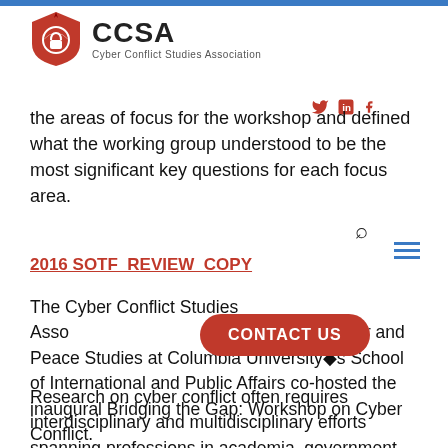[Figure (logo): CCSA Cyber Conflict Studies Association logo with red shield icon]
the areas of focus for the workshop and defined what the working group understood to be the most significant key questions for each focus area.
2016 SOTF_REVIEW_COPY
The Cyber Conflict Studies Association and the Arnold A. Saltzman Institute of War and Peace Studies at Columbia University's School of International and Public Affairs co-hosted the inaugural Bridging the Gap: Workshop on Cyber Conflict.
Research on cyber conflict often requires interdisciplinary and multidisciplinary efforts spanning professions in academia, government, civil society and the private sector as well as